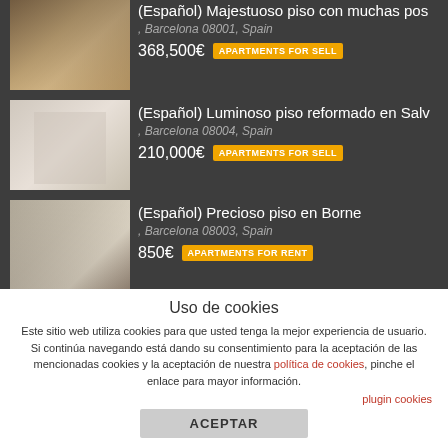[Figure (screenshot): Listing 1: Apartment image thumbnail (interior room)]
(Español) Majestuoso piso con muchas pos
, Barcelona 08001, Spain
368,500€  APARTMENTS FOR SELL
[Figure (screenshot): Listing 2: Apartment image thumbnail (bright interior)]
(Español) Luminoso piso reformado en Salv
, Barcelona 08004, Spain
210,000€  APARTMENTS FOR SELL
[Figure (screenshot): Listing 3: Apartment image thumbnail (Borne apartment)]
(Español) Precioso piso en Borne
, Barcelona 08003, Spain
850€  APARTMENTS FOR RENT
Our Services
[Figure (logo): Casc Antic logos: Alquileres & Administración, Arquitectura & Reformas, Gestión de Patrimonios, Inversiones & Edificios]
[Figure (logo): ADN Col·legis i associació membership banner]
Uso de cookies
Este sitio web utiliza cookies para que usted tenga la mejor experiencia de usuario. Si continúa navegando está dando su consentimiento para la aceptación de las mencionadas cookies y la aceptación de nuestra política de cookies, pinche el enlace para mayor información.
plugin cookies
ACEPTAR